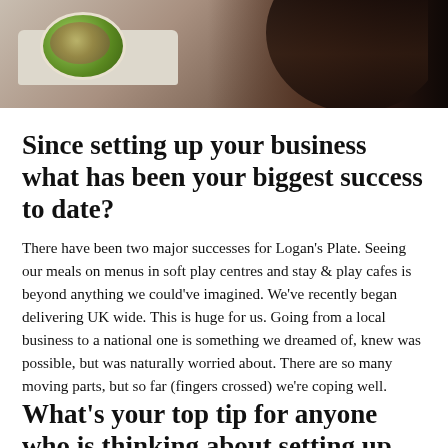[Figure (photo): Top portion of a photo showing a person with dark hair looking down at a green bowl of food on a white tray]
Since setting up your business what has been your biggest success to date?
There have been two major successes for Logan's Plate. Seeing our meals on menus in soft play centres and stay & play cafes is beyond anything we could've imagined. We've recently began delivering UK wide. This is huge for us. Going from a local business to a national one is something we dreamed of, knew was possible, but was naturally worried about. There are so many moving parts, but so far (fingers crossed) we're coping well.
What's your top tip for anyone who is thinking about setting up their own business?